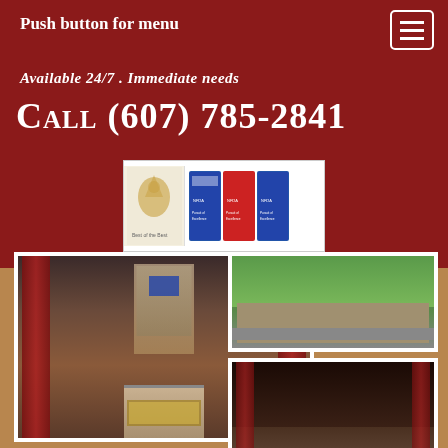Push button for menu
Available 24/7 . Immediate needs
Call (607) 785-2841
[Figure (logo): Logo badge showing Best of the Best eagle emblem alongside NFDA Pursuit of Excellence award badges]
[Figure (photo): Interior photo of funeral home chapel with fireplace, red drapes, and American flag display]
[Figure (photo): Exterior photo showing green lawn and building facade]
[Figure (photo): Interior photo of funeral home showing dark wood paneling, red carpet runner, drapes, and fireplace]